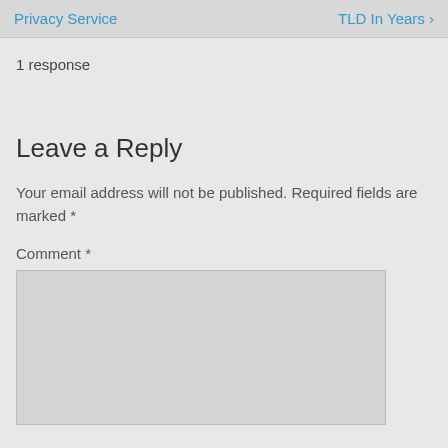Privacy Service   TLD In Years ›
1 response
Leave a Reply
Your email address will not be published. Required fields are marked *
Comment *